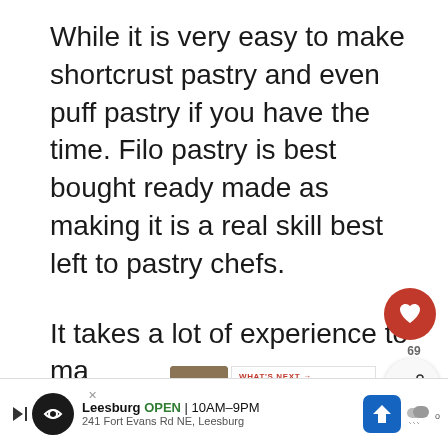While it is very easy to make shortcrust pastry and even puff pastry if you have the time. Filo pastry is best bought ready made as making it is a real skill best left to pastry chefs.
It takes a lot of experience to make these super thin and even sheets of pastry.
Filo pastry,  is used to make
[Figure (screenshot): UI overlay showing a red heart/like button with count 69, a share button, navigation diamonds, a 'What's Next' food recommendation panel showing 'Beet Salad Lunch Wrap...' with a food photo, and a Leesburg store advertisement banner at the bottom.]